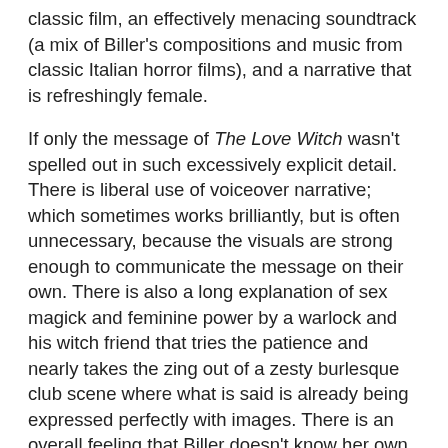classic film, an effectively menacing soundtrack (a mix of Biller's compositions and music from classic Italian horror films), and a narrative that is refreshingly female.
If only the message of The Love Witch wasn't spelled out in such excessively explicit detail. There is liberal use of voiceover narrative; which sometimes works brilliantly, but is often unnecessary, because the visuals are strong enough to communicate the message on their own. There is also a long explanation of sex magick and feminine power by a warlock and his witch friend that tries the patience and nearly takes the zing out of a zesty burlesque club scene where what is said is already being expressed perfectly with images. There is an overall feeling that Biller doesn't know her own power to communicate visually.
Biller also at times with some commentary that she should be